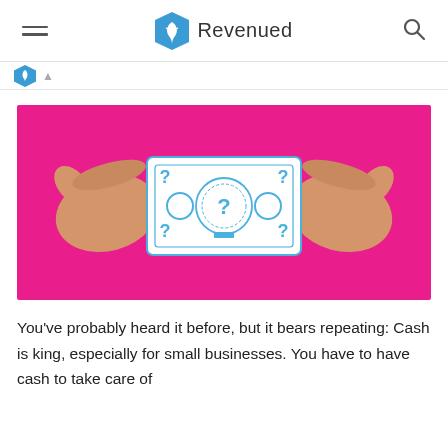Revenued
[Figure (illustration): Illustration on a pink/magenta background showing two cartoon hands holding a banknote with question marks and circles on it, representing unknown cash or currency.]
You’ve probably heard it before, but it bears repeating: Cash is king, especially for small businesses. You have to have cash to take care of